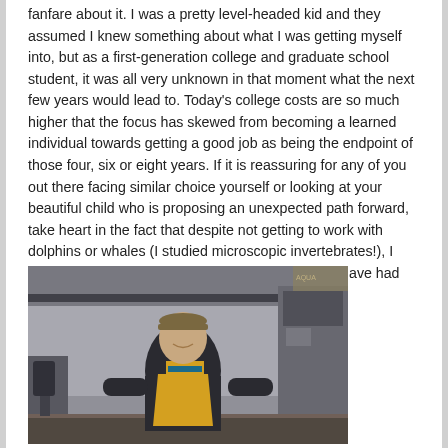fanfare about it. I was a pretty level-headed kid and they assumed I knew something about what I was getting myself into, but as a first-generation college and graduate school student, it was all very unknown in that moment what the next few years would lead to. Today's college costs are so much higher that the focus has skewed from becoming a learned individual towards getting a good job as being the endpoint of those four, six or eight years. If it is reassuring for any of you out there facing similar choice yourself or looking at your beautiful child who is proposing an unexpected path forward, take heart in the fact that despite not getting to work with dolphins or whales (I studied microscopic invertebrates!), I have been gainfully employed over the years and have had some fun along the way.
[Figure (photo): A person wearing a cap and an aquarium-branded yellow apron over a dark shirt, standing and smiling in what appears to be an aquarium facility or lab setting with equipment visible in the background.]